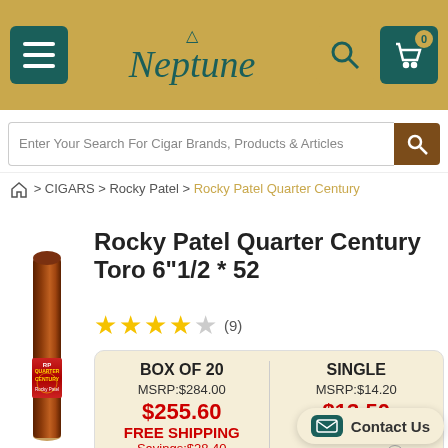[Figure (screenshot): Neptune Cigars website header with menu button, Neptune logo with trident, search icon, and cart icon with badge showing 0]
Enter Your Search For Cigar Brands, Products & Articles
⌂ > CIGARS > Rocky Patel > Rocky Patel Quarter Century
[Figure (photo): Rocky Patel Quarter Century Toro cigar product image]
Rocky Patel Quarter Century Toro 6"1/2 * 52
★★★★☆ (9)
| BOX OF 20 | SINGLE |
| --- | --- |
| MSRP:$284.00 | MSRP:$14.20 |
| $255.60 FREE SHIPPING Savings:$28.40 | $13.50 Savings:$0.70 |
| REWARD: 1275 | REWARD: 65 |
| IN STOCK Ships Today | IN STOCK Ships Today |
| Check In Store | Che... |
Contact Us